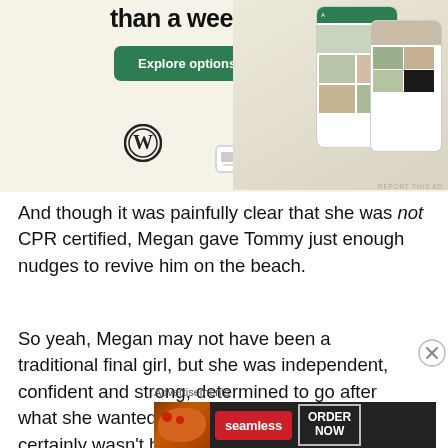[Figure (screenshot): WordPress.com advertisement showing 'than a week' heading, an 'Explore options' green button, WordPress logo, and food/recipe app screenshots on mobile devices]
And though it was painfully clear that she was not CPR certified, Megan gave Tommy just enough nudges to revive him on the beach.
So yeah, Megan may not have been a traditional final girl, but she was independent, confident and strong, determined to go after what she wanted, and while not fearless, certainly wasn't hesitant to do what needed doing to save those she cared
Advertisements
[Figure (infographic): Seamless food delivery advertisement showing pizza image, red Seamless logo, and 'ORDER NOW' button on dark background]